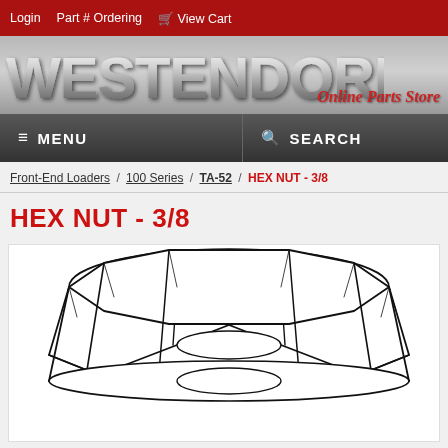Login | Part # Ordering | View Cart
[Figure (logo): Westendorf Online Parts Store logo with metallic 3D text on gray gradient background]
≡ MENU   🔍 SEARCH
Front-End Loaders / 100 Series / TA-52 / HEX NUT - 3/8
HEX NUT - 3/8
[Figure (illustration): Technical line drawing of a 3/8 hex nut shown from an isometric perspective, with curved top surface and angled facets, black outline on white background]